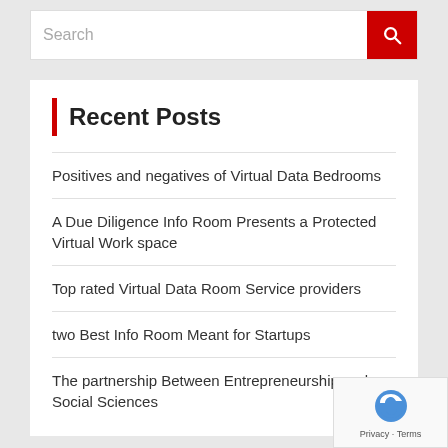[Figure (screenshot): Search input box with red search button containing a magnifying glass icon]
Recent Posts
Positives and negatives of Virtual Data Bedrooms
A Due Diligence Info Room Presents a Protected Virtual Work space
Top rated Virtual Data Room Service providers
two Best Info Room Meant for Startups
The partnership Between Entrepreneurship and Social Sciences